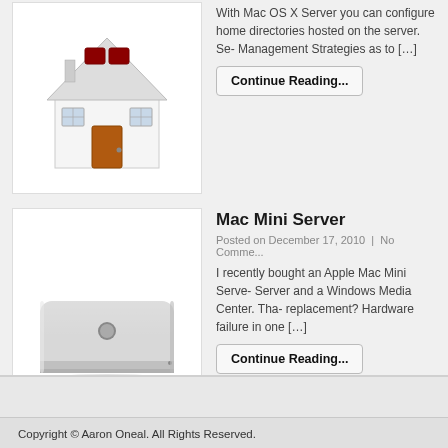[Figure (illustration): House/home icon illustration - white house with red roof windows and orange/brown door]
With Mac OS X Server you can configure home directories hosted on the server. Se- Management Strategies as to […]
Continue Reading...
[Figure (photo): Apple Mac Mini server device - silver aluminum rectangular device with Apple logo]
Mac Mini Server
Posted on December 17, 2010  |  No Comme...
I recently bought an Apple Mac Mini Serve- Server and a Windows Media Center. Tha- replacement? Hardware failure in one […]
Continue Reading...
Copyright © Aaron Oneal. All Rights Reserved.